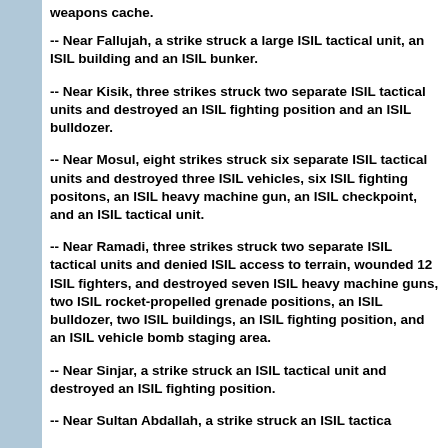weapons cache.
-- Near Fallujah, a strike struck a large ISIL tactical unit, an ISIL building and an ISIL bunker.
-- Near Kisik, three strikes struck two separate ISIL tactical units and destroyed an ISIL fighting position and an ISIL bulldozer.
-- Near Mosul, eight strikes struck six separate ISIL tactical units and destroyed three ISIL vehicles, six ISIL fighting positions, an ISIL heavy machine gun, an ISIL checkpoint, and an ISIL tactical unit.
-- Near Ramadi, three strikes struck two separate ISIL tactical units and denied ISIL access to terrain, wounded 12 ISIL fighters, and destroyed seven ISIL heavy machine guns, two ISIL rocket-propelled grenade positions, an ISIL bulldozer, two ISIL buildings, an ISIL fighting position, and an ISIL vehicle bomb staging area.
-- Near Sinjar, a strike struck an ISIL tactical unit and destroyed an ISIL fighting position.
-- Near Sultan Abdallah, a strike struck an ISIL tactical unit and